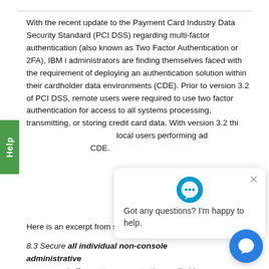With the recent update to the Payment Card Industry Data Security Standard (PCI DSS) regarding multi-factor authentication (also known as Two Factor Authentication or 2FA), IBM i administrators are finding themselves faced with the requirement of deploying an authentication solution within their cardholder data environments (CDE). Prior to version 3.2 of PCI DSS, remote users were required to use two factor authentication for access to all systems processing, transmitting, or storing credit card data. With version 3.2 this requirement extended to local users performing administrative access within the CDE.
Here is an excerpt from section 8.3 of the PCI DSS:
8.3 Secure all individual non-console administrative access and all remote access to the cardholder data environment (CDE) using multi-factor authentication.